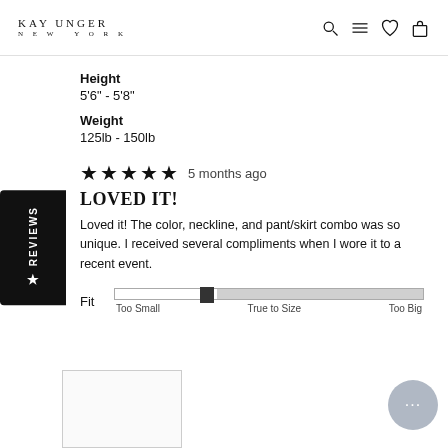KAY UNGER NEW YORK
Height
5'6" - 5'8"
Weight
125lb - 150lb
★★★★★  5 months ago
LOVED IT!
Loved it! The color, neckline, and pant/skirt combo was so unique. I received several compliments when I wore it to a recent event.
Fit  Too Small  True to Size  Too Big
[Figure (illustration): Product image placeholder box]